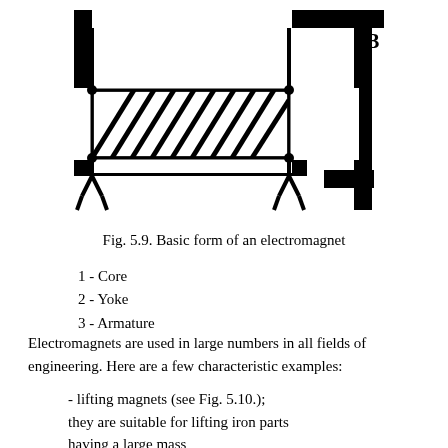[Figure (engineering-diagram): Schematic diagram of the basic form of an electromagnet showing a U-shaped core (yoke) with a coil (labeled 1 - Core) wound around one arm, labeled 2 for the Yoke (top bar), and labeled 3 for the Armature (right side piece). The coil is depicted with diagonal hatching lines. Two forked ground-like symbols extend downward from both sides of the core.]
Fig. 5.9. Basic form of an electromagnet
1 - Core
2 - Yoke
3 - Armature
Electromagnets are used in large numbers in all fields of engineering. Here are a few characteristic examples:
- lifting magnets (see Fig. 5.10.); they are suitable for lifting iron parts having a large mass
- chucks for clamping and holding...